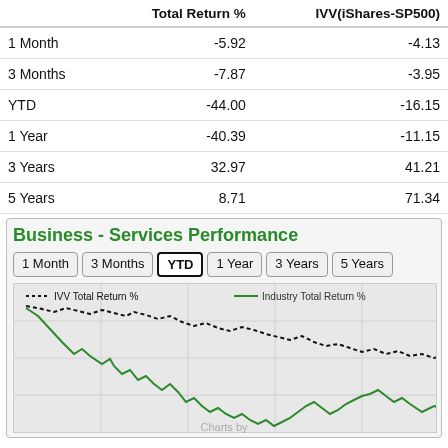|  | Total Return % | IVV(iShares-SP500) |
| --- | --- | --- |
| 1 Month | -5.92 | -4.13 |
| 3 Months | -7.87 | -3.95 |
| YTD | -44.00 | -16.15 |
| 1 Year | -40.39 | -11.15 |
| 3 Years | 32.97 | 41.21 |
| 5 Years | 8.71 | 71.34 |
Business - Services Performance
[Figure (line-chart): YTD line chart showing IVV Total Return % (dotted black line, starting higher, declining less steeply) and Industry Total Return % (solid green line, declining sharply then recovering slightly at end) over the year.]
Charts by